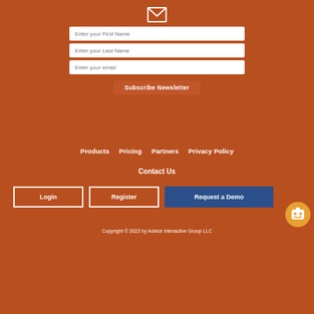[Figure (infographic): Newsletter signup form with envelope icon, three text input fields (First Name, Last Name, Email), and a Subscribe Newsletter button, all on a burnt orange background]
Products
Pricing
Partners
Privacy Policy
Contact Us
Login
Register
Request a Demo
Copyright © 2022 by Advice Interactive Group LLC